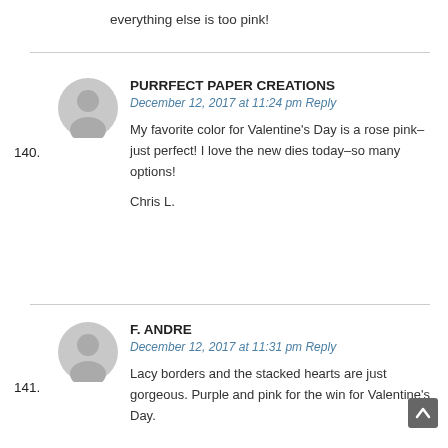everything else is too pink!
PURRFECT PAPER CREATIONS
December 12, 2017 at 11:24 pm Reply
My favorite color for Valentine's Day is a rose pink–just perfect! I love the new dies today–so many options!

Chris L.
F. ANDRE
December 12, 2017 at 11:31 pm Reply
Lacy borders and the stacked hearts are just gorgeous. Purple and pink for the win for Valentine's Day.